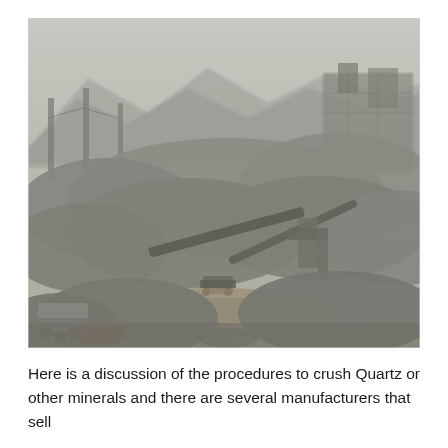[Figure (photo): Aerial view of a large open-air quarry or mineral crushing site. The scene shows massive grey gravel and stone piles, industrial machinery including conveyor belts, crushers, and heavy equipment scattered throughout. In the background are industrial buildings and hazy misty mountains. The foreground shows waterlogged muddy ground with metal drums and timber. The overall atmosphere is dusty and industrial.]
Here is a discussion of the procedures to crush Quartz or other minerals and there are several manufacturers that sell